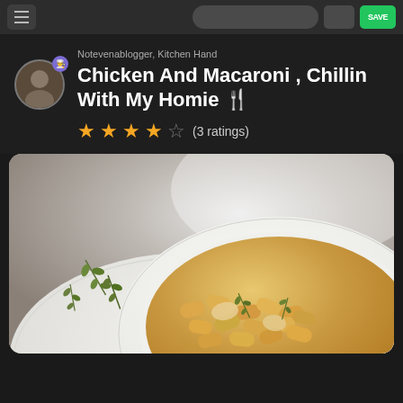Navigation bar with hamburger menu, search, share, and save buttons
Notevenablogger, Kitchen Hand
Chicken And Macaroni , Chillin With My Homie 🍴
★★★★☆ (3 ratings)
[Figure (photo): A white bowl of chicken and macaroni pasta garnished with fresh thyme sprigs, set on a white plate with herbs scattered around, on a grey surface]